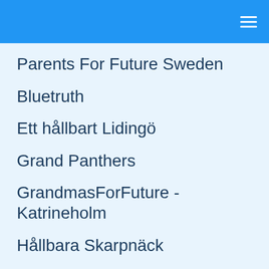Parents For Future Sweden
Bluetruth
Ett hållbart Lidingö
Grand Panthers
GrandmasForFuture - Katrineholm
Hållbara Skarpnäck
Husstainability AB
Klimataktion
Klimatinitiativ Strängnäs
Parents for Future Norrtälje
ParentsForFuture Karlskrona
Promenadklubben
Psychologists & Psychotherapists For Future